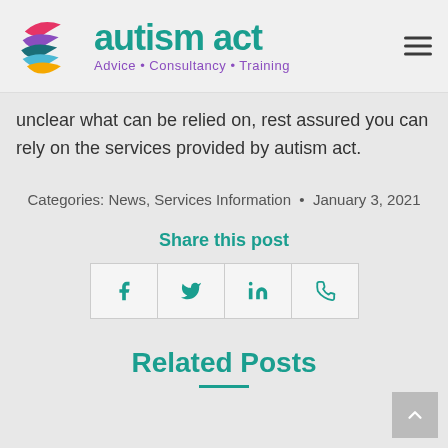[Figure (logo): Autism Act logo with colorful swirl graphic and teal 'autism act' text, subtitle 'Advice · Consultancy · Training' in purple]
unclear what can be relied on, rest assured you can rely on the services provided by autism act.
Categories: News, Services Information · January 3, 2021
Share this post
[Figure (infographic): Social share buttons: Facebook (f), Twitter (bird), LinkedIn (in), WhatsApp (phone icon)]
Related Posts